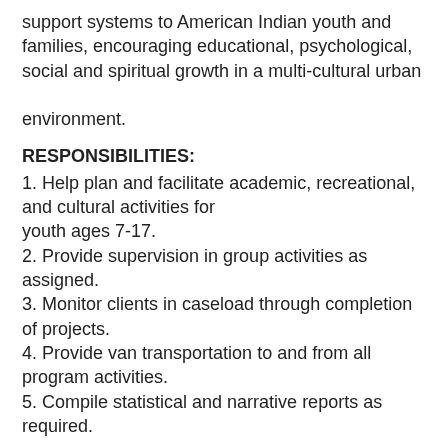support systems to American Indian youth and families, encouraging educational, psychological, social and spiritual growth in a multi-cultural urban environment.
RESPONSIBILITIES:
1. Help plan and facilitate academic, recreational, and cultural activities for youth ages 7-17.
2. Provide supervision in group activities as assigned.
3. Monitor clients in caseload through completion of projects.
4. Provide van transportation to and from all program activities.
5. Compile statistical and narrative reports as required.
QUALIFICATIONS:
1. High school diploma or GED equivalency.